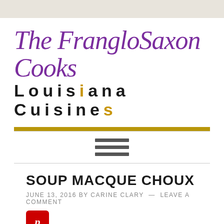The FrangloSaxon Cooks Louisiana Cuisines
SOUP MACQUE CHOUX
JUNE 13, 2016 BY CARINE CLARY — LEAVE A COMMENT
[Figure (logo): Pinterest button icon (red rounded square with white P)]
[Figure (photo): Food photo, dark brown tones, partially visible at bottom]